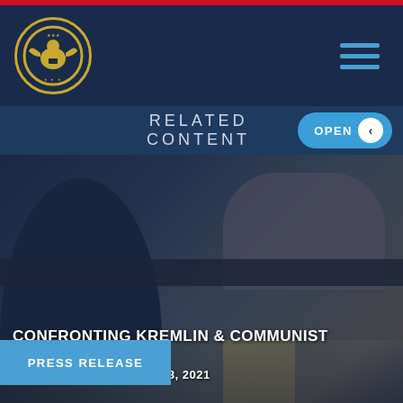[Figure (logo): Commission on Security and Cooperation in Europe seal/logo on dark navy header background with hamburger menu icon]
RELATED CONTENT
[Figure (photo): People seated at a conference table, blurred background, dark overlay]
CONFRONTING KREMLIN & COMMUNIST CORRUPTION
THURSDAY, NOVEMBER 18, 2021
[Figure (photo): Statue of Lady Justice, gold-toned, with PRESS RELEASE badge overlay]
PRESS RELEASE